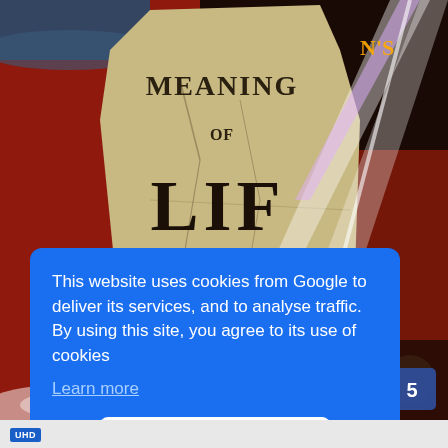[Figure (photo): Movie poster/cover for Monty Python's The Meaning of Life. A cracked stone tablet with the text 'MEANING OF LIFE' carved into it, with a bright light beam striking it from the upper right, against a dramatic red and dark sky background.]
This website uses cookies from Google to deliver its services, and to analyse traffic. By using this site, you agree to its use of cookies
Learn more
Got it!
UHD